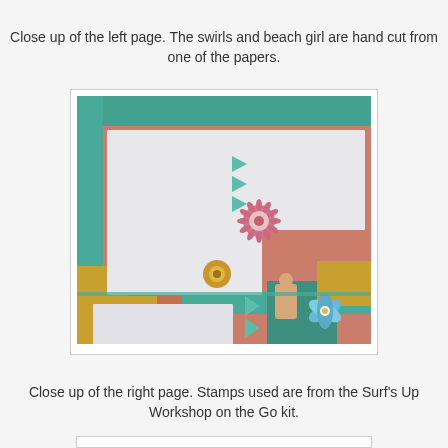Close up of the left page. The swirls and beach girl are hand cut from one of the papers.
[Figure (photo): Close up photo of a scrapbook right page with teal/turquoise patterned border, coral/orange and mustard yellow decorative papers, white photo mats, teal arrows, a pink paper rosette, a gold paper rosette, and a blue paper pinwheel/flower embellishment with a beach girl figure.]
Close up of the right page.  Stamps used are from the Surf's Up Workshop on the Go kit.